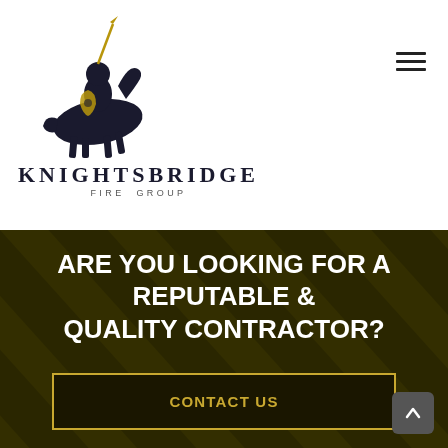[Figure (logo): Knightsbridge Fire Group logo: knight on horseback with lance, company name below]
ARE YOU LOOKING FOR A REPUTABLE & QUALITY CONTRACTOR?
CONTACT US